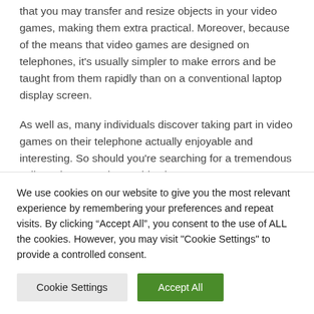that you may transfer and resize objects in your video games, making them extra practical. Moreover, because of the means that video games are designed on telephones, it's usually simpler to make errors and be taught from them rapidly than on a conventional laptop display screen.
As well as, many individuals discover taking part in video games on their telephone actually enjoyable and interesting. So should you're searching for a tremendous cell gaming expertise, Roblox is
We use cookies on our website to give you the most relevant experience by remembering your preferences and repeat visits. By clicking "Accept All", you consent to the use of ALL the cookies. However, you may visit "Cookie Settings" to provide a controlled consent.